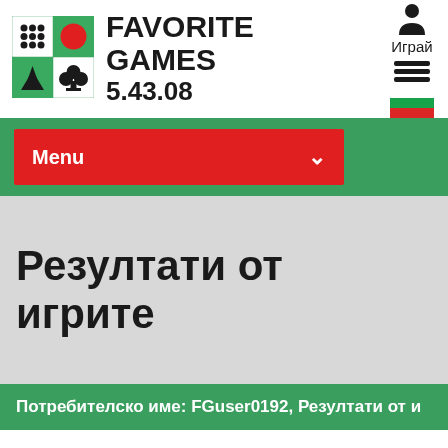[Figure (logo): Favorite Games logo: green square divided into 4 quadrants with dice dots, red circle, green trees, and clubs card symbol]
FAVORITE GAMES 5.43.08
[Figure (illustration): User/person icon above text Играй, followed by hamburger menu lines and Bulgarian flag]
Menu
Резултати от игрите
| Потребителско име: FGuser0192, Резултати от и |
| --- |
|  |